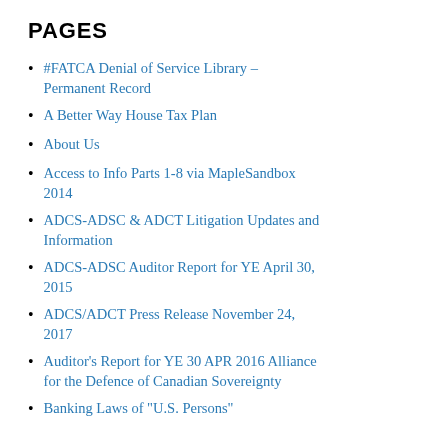PAGES
#FATCA Denial of Service Library – Permanent Record
A Better Way House Tax Plan
About Us
Access to Info Parts 1-8 via MapleSandbox 2014
ADCS-ADSC & ADCT Litigation Updates and Information
ADCS-ADSC Auditor Report for YE April 30, 2015
ADCS/ADCT Press Release November 24, 2017
Auditor's Report for YE 30 APR 2016 Alliance for the Defence of Canadian Sovereignty
Banking Laws of "U.S. Persons"